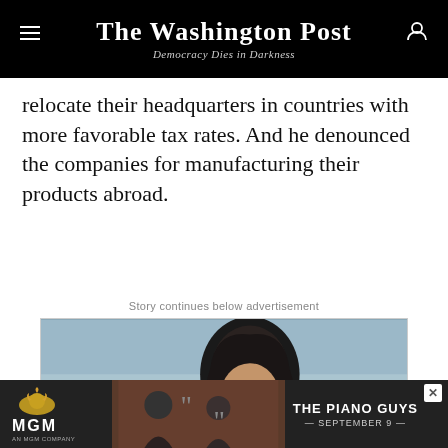The Washington Post
Democracy Dies in Darkness
relocate their headquarters in countries with more favorable tax rates. And he denounced the companies for manufacturing their products abroad.
Story continues below advertisement
[Figure (photo): Advertisement photo showing a woman with dark hair looking downward, in an industrial or transit setting with blue background elements. Below is an MGM advertisement for The Piano Guys, September 9.]